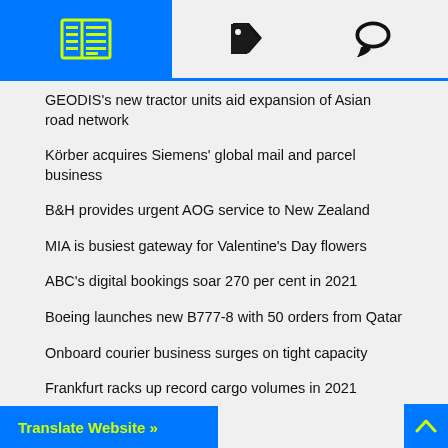[Figure (screenshot): Navigation header bar with blue left section containing a newspaper/list icon, and two icons (tag and chat bubble) on grey background]
GEODIS's new tractor units aid expansion of Asian road network
Körber acquires Siemens' global mail and parcel business
B&H provides urgent AOG service to New Zealand
MIA is busiest gateway for Valentine's Day flowers
ABC's digital bookings soar 270 per cent in 2021
Boeing launches new B777-8 with 50 orders from Qatar
Onboard courier business surges on tight capacity
Frankfurt racks up record cargo volumes in 2021
Translate Website »